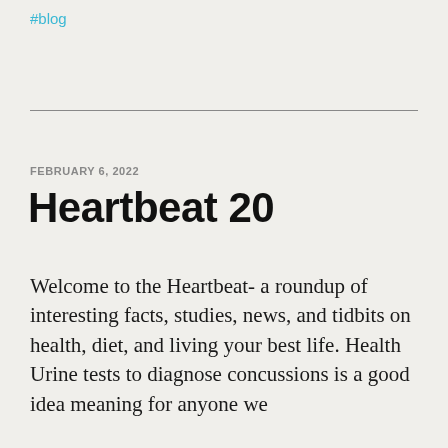#blog
FEBRUARY 6, 2022
Heartbeat 20
Welcome to the Heartbeat- a roundup of interesting facts, studies, news, and tidbits on health, diet, and living your best life. Health Urine tests to diagnose concussions is a good idea meaning for anyone we need to know this